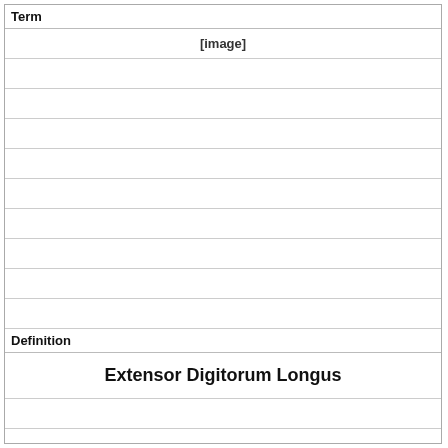Term
[Figure (other): [image] placeholder in lined area under Term section]
Definition
Extensor Digitorum Longus